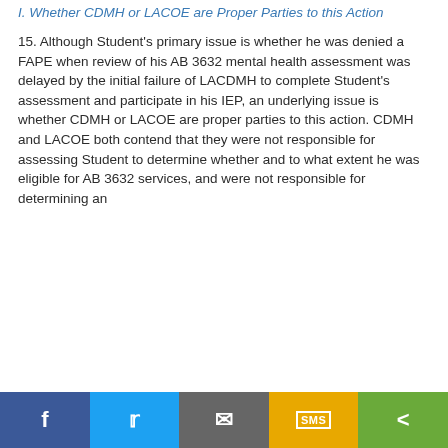I. Whether CDMH or LACOE are Proper Parties to this Action
15. Although Student's primary issue is whether he was denied a FAPE when review of his AB 3632 mental health assessment was delayed by the initial failure of LACDMH to complete Student's assessment and participate in his IEP, an underlying issue is whether CDMH or LACOE are proper parties to this action. CDMH and LACOE both contend that they were not responsible for assessing Student to determine whether and to what extent he was eligible for AB 3632 services, and were not responsible for determining an
f  [Twitter]  [Email]  SMS  <